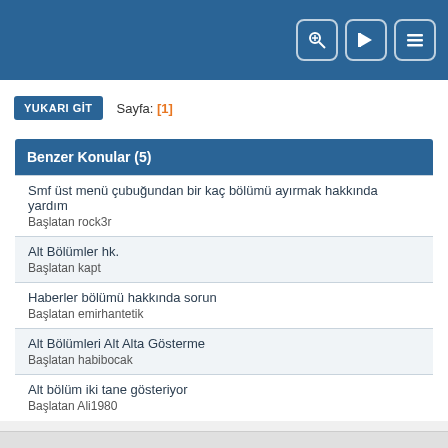[Figure (screenshot): Top navigation bar with blue background and three icon buttons (search/key, login arrow, hamburger menu)]
YUKARI GIT   Sayfa: [1]
| Benzer Konular (5) |
| --- |
| Smf üst menü çubuğundan bir kaç bölümü ayırmak hakkında yardım | Başlatan rock3r |
| Alt Bölümler hk. | Başlatan kapt |
| Haberler bölümü hakkında sorun | Başlatan emirhantetik |
| Alt Bölümleri Alt Alta Gösterme | Başlatan habibocak |
| Alt bölüm iki tane gösteriyor | Başlatan Ali1980 |